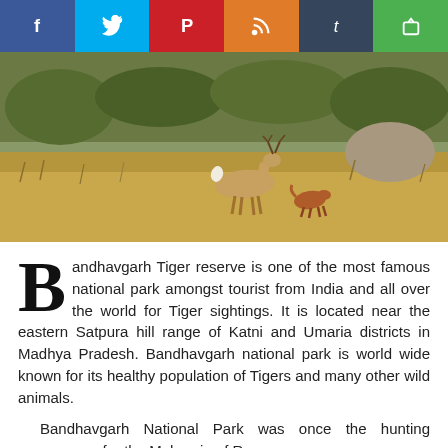[Figure (infographic): Social media sharing buttons bar: Facebook (blue), Twitter (cyan), Pinterest (red), RSS (orange), Tumblr (dark blue), Share (green)]
[Figure (photo): Wildlife photo showing a spotted deer and a small animal (possibly a wild dog) walking on dry grassland with shrubs and trees in the background at Bandhavgarh Tiger Reserve.]
Bandhavgarh Tiger reserve is one of the most famous national park amongst tourist from India and all over the world for Tiger sightings. It is located near the eastern Satpura hill range of Katni and Umaria districts in Madhya Pradesh. Bandhavgarh national park is world wide known for its healthy population of Tigers and many other wild animals.
Bandhavgarh National Park was once the hunting preserve for the Maharaja of Rewa as